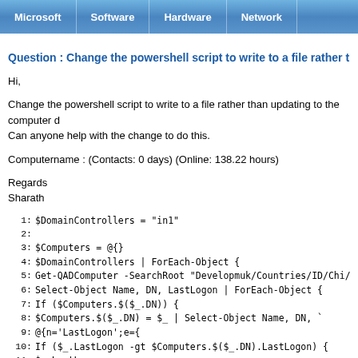Microsoft | Software | Hardware | Network
Question : Change the powershell script to write to a file rather tha
Hi,
Change the powershell script to write to a file rather than updating to the computer d Can anyone help with the change to do this.
Computername : (Contacts: 0 days) (Online: 138.22 hours)
Regards
Sharath
1:   $DomainControllers = "in1"
2:
3:   $Computers = @{}
4:   $DomainControllers | ForEach-Object {
5:     Get-QADComputer -SearchRoot "Developmuk/Countries/ID/Chi/Virines" -S
6:       Select-Object Name, DN, LastLogon | ForEach-Object {
7:         If ($Computers.$($.DN)) {
8:           $Computers.$($_.DN) = $_ | Select-Object Name, DN,
9:             @{n='LastLogon';e={
10:            If ($_.LastLogon -gt $Computers.$($_.DN).LastLogon) {
11:              $_.LastLogon
12:            } Else {
13:              $Computers.$($_.DN).LastLogon
14:            } }}
15:       } Else {
16:       $Computers.Add($($_.DN), $_)